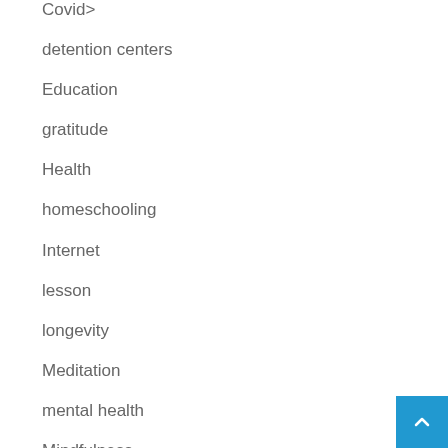Covid>
detention centers
Education
gratitude
Health
homeschooling
Internet
lesson
longevity
Meditation
mental health
Mindfulness
paragraph